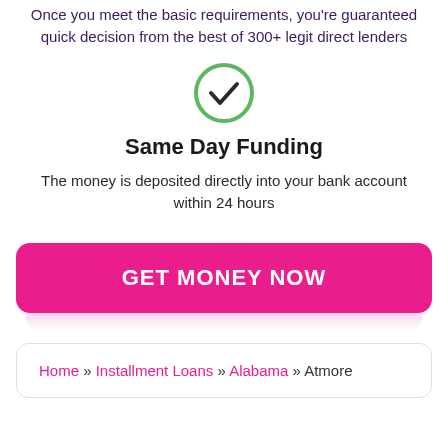Once you meet the basic requirements, you're guaranteed quick decision from the best of 300+ legit direct lenders
[Figure (illustration): Green circle with a dark checkmark inside]
Same Day Funding
The money is deposited directly into your bank account within 24 hours
GET MONEY NOW
Home » Installment Loans » Alabama » Atmore